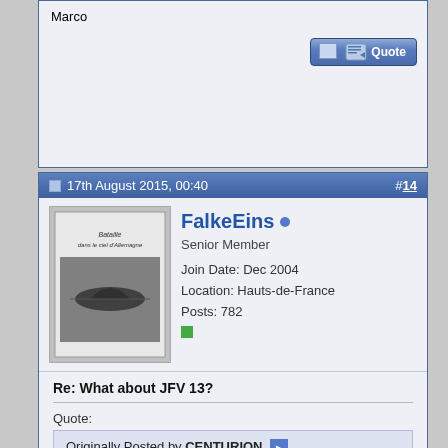Marco
17th August 2015, 00:40   #14
FalkeEins
Senior Member
Join Date: Dec 2004
Location: Hauts-de-France
Posts: 782
Re: What about JFV 13?
Quote:
Originally Posted by CENTURION
Dear Mr. Prien,

I just received the Vol. 13/I. The book is mighty and the glossy paper is a considerable improvement. Thank you very much for your effort!
Thank you.
Best regards.

Marco
yes indeed, superlative work!